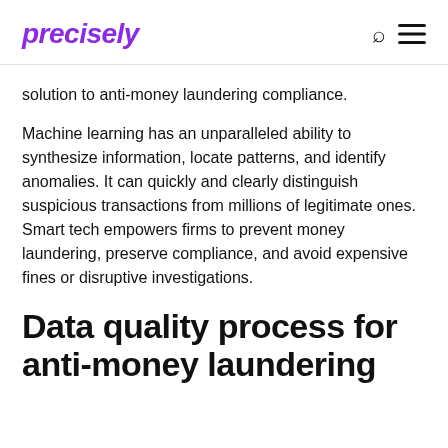precisely
solution to anti-money laundering compliance.
Machine learning has an unparalleled ability to synthesize information, locate patterns, and identify anomalies. It can quickly and clearly distinguish suspicious transactions from millions of legitimate ones. Smart tech empowers firms to prevent money laundering, preserve compliance, and avoid expensive fines or disruptive investigations.
Data quality process for anti-money laundering